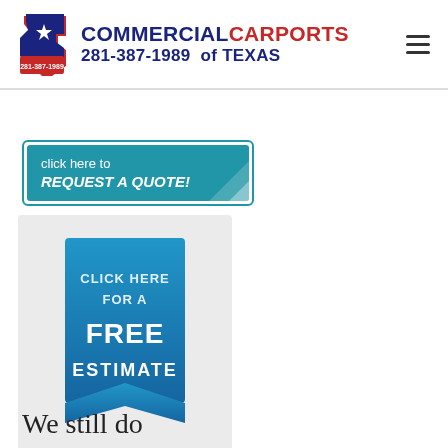[Figure (logo): Commercial Carports of Texas logo with Texas state outline icon, phone number 281-387-1989, text COMMERCIAL CARPORTS of TEXAS]
[Figure (illustration): Teal rounded rectangle button with peel corner effect, text: 'click here to REQUEST A QUOTE!']
[Figure (illustration): Blue ribbon/badge graphic with text: 'CLICK HERE FOR A FREE ESTIMATE']
We still do